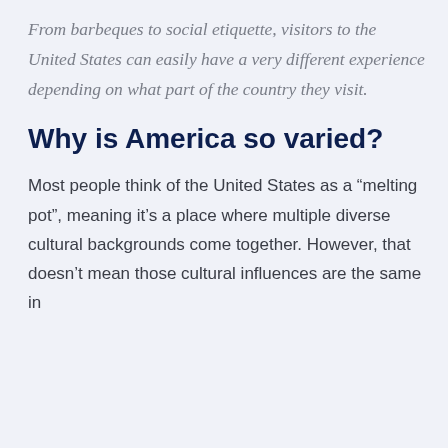From barbeques to social etiquette, visitors to the United States can easily have a very different experience depending on what part of the country they visit.
Why is America so varied?
Most people think of the United States as a “melting pot”, meaning it’s a place where multiple diverse cultural backgrounds come together. However, that doesn’t mean those cultural influences are the same in